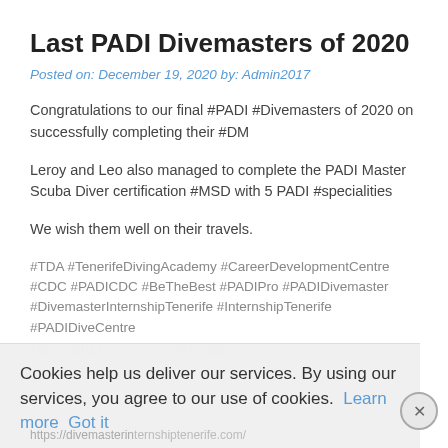Last PADI Divemasters of 2020
Posted on: December 19, 2020 by: Admin2017
Congratulations to our final #PADI #Divemasters of 2020 on successfully completing their #DM
Leroy and Leo also managed to complete the PADI Master Scuba Diver certification #MSD with 5 PADI #specialities
We wish them well on their travels.
#TDA #TenerifeDivingAcademy #CareerDevelopmentCentre #CDC #PADICDC #BeTheBest #PADIPro #PADIDivemaster #DivemasterInternshipTenerife #InternshipTenerife #PADIDiveCentre
Cookies help us deliver our services. By using our services, you agree to our use of cookies. Learn more Got it